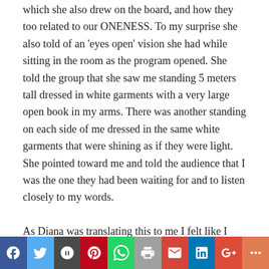which she also drew on the board, and how they too related to our ONENESS. To my surprise she also told of an 'eyes open' vision she had while sitting in the room as the program opened. She told the group that she saw me standing 5 meters tall dressed in white garments with a very large open book in my arms. There was another standing on each side of me dressed in the same white garments that were shining as if they were light. She pointed toward me and told the audience that I was the one they had been waiting for and to listen closely to my words.
As Diana was translating this to me I felt like I wanted to disappear. I was not prepared for such an introduction, as it was so humbling that I did not
[Figure (infographic): Social media share bar with buttons: Facebook (blue), Twitter (light blue), Email/share (dark gray), Pinterest (red), WhatsApp (green), Print (gray), Gmail (red), LinkedIn (blue), Google+ (orange-red), More (orange)]